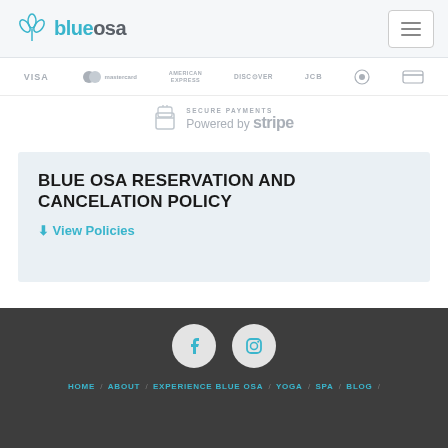blueosa
[Figure (logo): Payment logos bar showing VISA, Mastercard, American Express, Discover, JCB, Diners Club, and another card brand]
[Figure (logo): Secure Payments Powered by Stripe badge with lock icon]
BLUE OSA RESERVATION AND CANCELATION POLICY
↓ View Policies
[Figure (infographic): Social media icons: Facebook and Instagram circles in footer]
HOME / ABOUT / EXPERIENCE BLUE OSA / YOGA / SPA / BLOG /